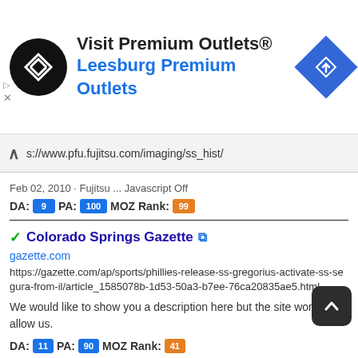[Figure (screenshot): Advertisement banner for Visit Premium Outlets® - Leesburg Premium Outlets with logo and navigation icon]
s://www.pfu.fujitsu.com/imaging/ss_hist/
Feb 02, 2010 · Fujitsu ... Javascript Off
DA: 9 PA: 100 MOZ Rank: 99
Colorado Springs Gazette 🔗
gazette.com
https://gazette.com/ap/sports/phillies-release-ss-gregorius-activate-ss-segura-from-il/article_1585078b-1d53-50a3-b7ee-76ca20835ae5.html
We would like to show you a description here but the site won't allow us.
DA: 11 PA: 90 MOZ Rank: 41
Far, Far Away Site - The First And Best Source Fo... Tagless 🔗